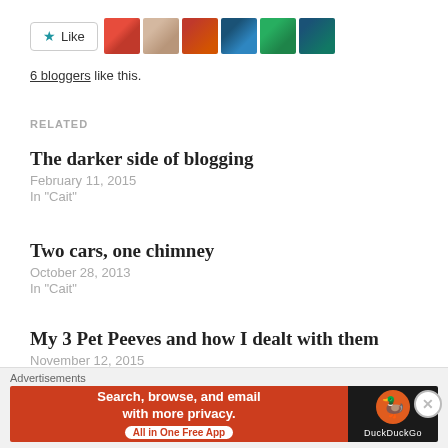[Figure (other): Like button with star icon and 6 blogger avatar thumbnails in a row]
6 bloggers like this.
RELATED
The darker side of blogging
February 11, 2015
In "Cait"
Two cars, one chimney
October 28, 2013
In "Cait"
My 3 Pet Peeves and how I dealt with them
November 12, 2015
In "Cait"
[Figure (infographic): DuckDuckGo advertisement banner: Search, browse, and email with more privacy. All in One Free App. DuckDuckGo logo on dark background.]